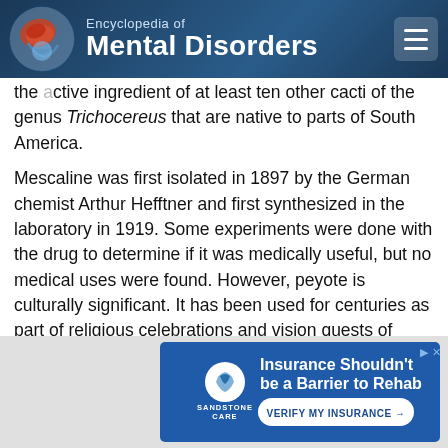Encyclopedia of Mental Disorders
the active ingredient of at least ten other cacti of the genus Trichocereus that are native to parts of South America.
Mescaline was first isolated in 1897 by the German chemist Arthur Hefftner and first synthesized in the laboratory in 1919. Some experiments were done with the drug to determine if it was medically useful, but no medical uses were found. However, peyote is culturally significant. It has been used for centuries as part of religious celebrations and vision quests of Native Americans. The Native American Church, which fuses elements of Christianity with indigenous practices, has long used peyote as part of its religious practices.
In 1970 mescaline was listed as a Schedule I drug under the Controlled Substances Act. However, that same year the state
[Figure (infographic): Advertisement for Sandstone Care insurance/rehab: 'Insurance Shouldn't be a Barrier to Rehab' with VERIFY MY INSURANCE button]